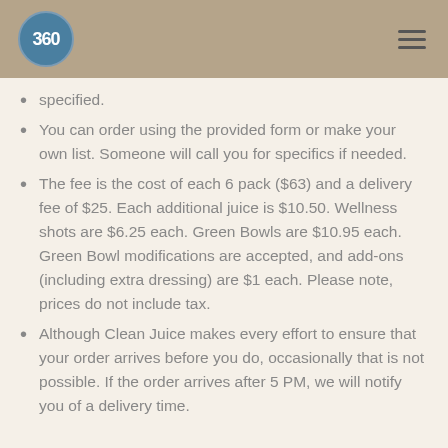360
specified.
You can order using the provided form or make your own list. Someone will call you for specifics if needed.
The fee is the cost of each 6 pack ($63) and a delivery fee of $25. Each additional juice is $10.50. Wellness shots are $6.25 each. Green Bowls are $10.95 each. Green Bowl modifications are accepted, and add-ons (including extra dressing) are $1 each. Please note, prices do not include tax.
Although Clean Juice makes every effort to ensure that your order arrives before you do, occasionally that is not possible. If the order arrives after 5 PM, we will notify you of a delivery time.